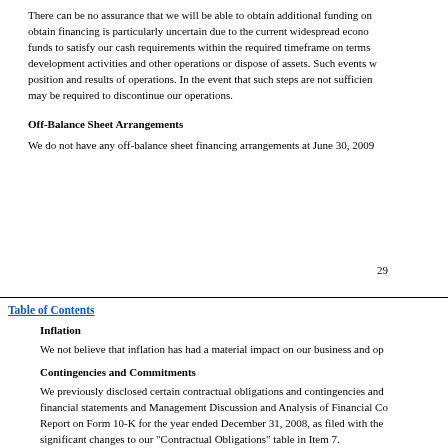There can be no assurance that we will be able to obtain additional funding on obtain financing is particularly uncertain due to the current widespread econo funds to satisfy our cash requirements within the required timeframe on terms development activities and other operations or dispose of assets. Such events w position and results of operations. In the event that such steps are not sufficien may be required to discontinue our operations.
Off-Balance Sheet Arrangements
We do not have any off-balance sheet financing arrangements at June 30, 2009
29
Table of Contents
Inflation
We not believe that inflation has had a material impact on our business and op
Contingencies and Commitments
We previously disclosed certain contractual obligations and contingencies and financial statements and Management Discussion and Analysis of Financial Co Report on Form 10-K for the year ended December 31, 2008, as filed with the significant changes to our "Contractual Obligations" table in Item 7.